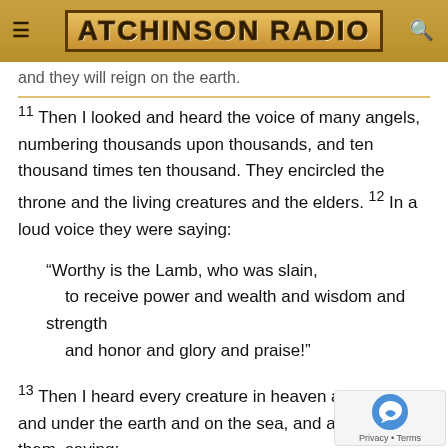Atchinson Radio
and they will reign on the earth.
11 Then I looked and heard the voice of many angels, numbering thousands upon thousands, and ten thousand times ten thousand. They encircled the throne and the living creatures and the elders. 12 In a loud voice they were saying:
“Worthy is the Lamb, who was slain,
    to receive power and wealth and wisdom and strength
    and honor and glory and praise!”
13 Then I heard every creature in heaven and on earth and under the earth and on the sea, and all that is in them, saying:
“To him who sits on the throne and to the Lamb